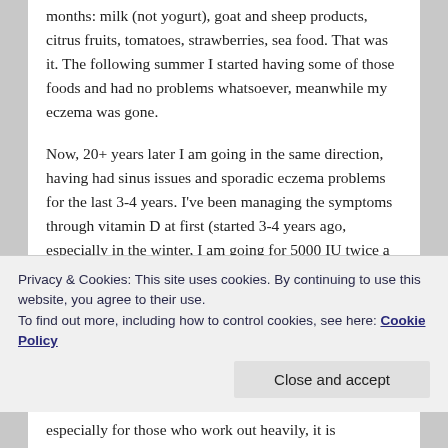months: milk (not yogurt), goat and sheep products, citrus fruits, tomatoes, strawberries, sea food. That was it. The following summer I started having some of those foods and had no problems whatsoever, meanwhile my eczema was gone.
Now, 20+ years later I am going in the same direction, having had sinus issues and sporadic eczema problems for the last 3-4 years. I've been managing the symptoms through vitamin D at first (started 3-4 years ago, especially in the winter, I am going for 5000 IU twice a day). I had a blood test and prior to this and my vit D results were in the very low range. Looking back, I think the low D
Privacy & Cookies: This site uses cookies. By continuing to use this website, you agree to their use.
To find out more, including how to control cookies, see here: Cookie Policy
especially for those who work out heavily, it is